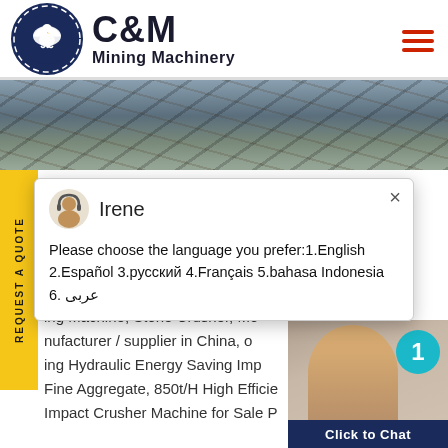[Figure (logo): C&M Mining Machinery logo with eagle/gear icon and company name]
[Figure (photo): Industrial mining machinery/conveyor structure outdoor photo]
REQUEST A QUOTE
[Figure (screenshot): Live chat popup with agent Irene asking language preference: 1.English 2.Español 3.русский 4.Français 5.bahasa Indonesia 6. عربى]
ergy Saving Impact
ing Machine, Stone Crusher, Mo nufacturer / supplier in China, o ing Hydraulic Energy Saving Imp Fine Aggregate, 850t/H High Efficie Impact Crusher Machine for Sale P
[Figure (photo): Female customer service agent with headset smiling, with teal badge showing number 1 and Click to Chat button]